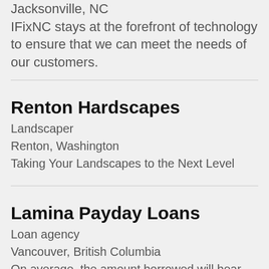Jacksonville, NC
IFixNC stays at the forefront of technology to ensure that we can meet the needs of our customers.
Renton Hardscapes
Landscaper
Renton, Washington
Taking Your Landscapes to the Next Level
Lamina Payday Loans
Loan agency
Vancouver, British Columbia
On average, the amount borrowed will bear